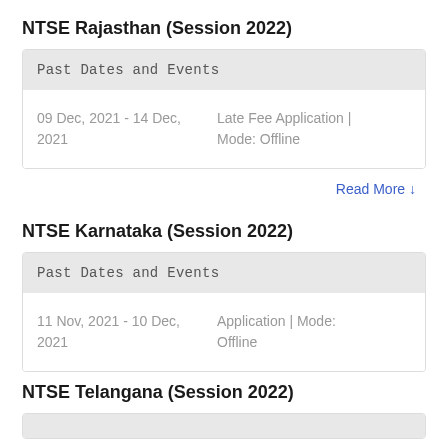NTSE Rajasthan (Session 2022)
| Past Dates and Events |  |
| --- | --- |
| 09 Dec, 2021 - 14 Dec, 2021 | Late Fee Application | Mode: Offline |
Read More ↓
NTSE Karnataka (Session 2022)
| Past Dates and Events |  |
| --- | --- |
| 11 Nov, 2021 - 10 Dec, 2021 | Application | Mode: Offline |
NTSE Telangana (Session 2022)